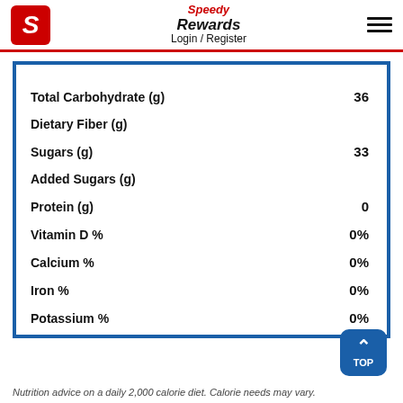Speedy Rewards Login / Register
| Nutrient | Value |
| --- | --- |
| Total Carbohydrate (g) | 36 |
| Dietary Fiber (g) |  |
| Sugars (g) | 33 |
| Added Sugars (g) |  |
| Protein (g) | 0 |
| Vitamin D % | 0% |
| Calcium % | 0% |
| Iron % | 0% |
| Potassium % | 0% |
Nutrition advice on a daily 2,000 calorie diet. Calorie needs may vary.